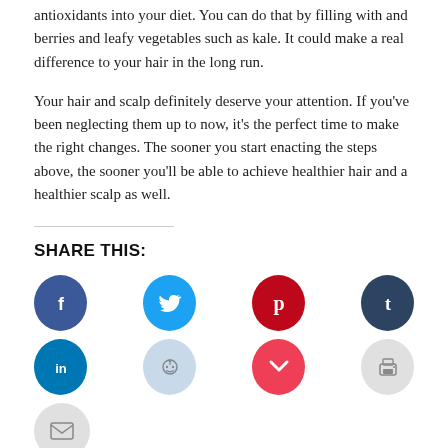antioxidants into your diet. You can do that by filling with and berries and leafy vegetables such as kale. It could make a real difference to your hair in the long run.
Your hair and scalp definitely deserve your attention. If you've been neglecting them up to now, it's the perfect time to make the right changes. The sooner you start enacting the steps above, the sooner you'll be able to achieve healthier hair and a healthier scalp as well.
SHARE THIS:
[Figure (infographic): Row of social media share icons: Facebook (dark blue circle with f), Twitter (cyan circle with bird), Pinterest (red circle with P), Tumblr (dark navy circle with t)]
[Figure (infographic): Row of social media share icons: LinkedIn (blue circle with in), Reddit (light blue circle with alien), Pocket (red circle with pocket icon), Print (light gray circle with printer icon)]
[Figure (infographic): Email share icon: light gray circle with envelope]